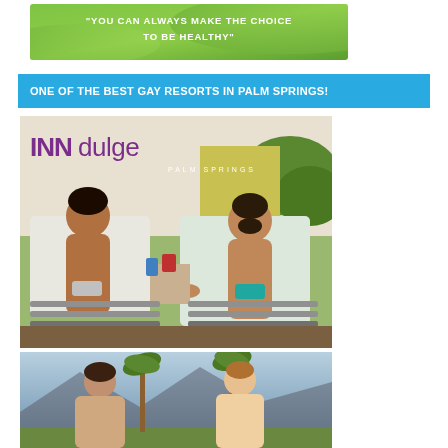[Figure (infographic): Green gradient banner with white bold text: 'YOU CAN ALWAYS MAKE THE CHOICE TO BE HEALTHY']
ONE OF THE BEST GAY RESORTS IN PALM SPRINGS!
[Figure (photo): INNdulge Palm Springs resort advertisement showing two men relaxing on lounge chairs by a pool, holding hands. The INNdulge logo appears in purple/violet at the top left with 'PALM SPRINGS' in white letters.]
[Figure (photo): Partial photo at the bottom showing two men facing each other with mountains and palm trees in the background.]